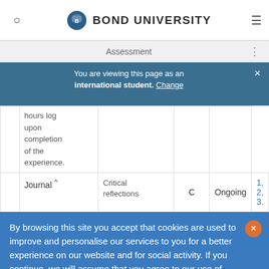BOND UNIVERSITY
Assessment
You are viewing this page as an international student. Change
|  | Description | Type | Due | LO |
| --- | --- | --- | --- | --- |
|  | hours log upon completion of the experience. |  |  |  |
| Journal ^ | Critical reflections | C | Ongoing | 1, 2, 3. |
By browsing this site you accept that cookies are used to improve and personalise our services to you for a better experience on our website and for social activity. If you continue, we will assume that you agree to our use of cookies statement.